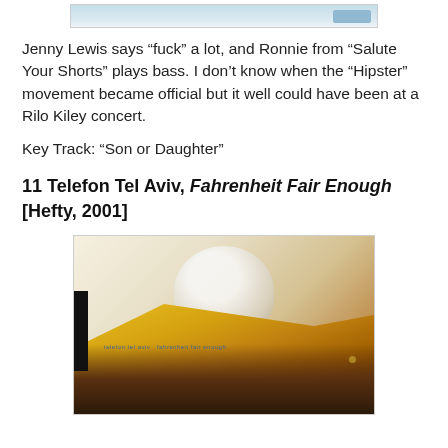[Figure (screenshot): Partial top image of a previous album cover or web page element, cropped at top]
Jenny Lewis says “fuck” a lot, and Ronnie from “Salute Your Shorts” plays bass. I don’t know when the “Hipster” movement became official but it well could have been at a Rilo Kiley concert.
Key Track: “Son or Daughter”
11 Telefon Tel Aviv, Fahrenheit Fair Enough [Hefty, 2001]
[Figure (photo): Album cover for Telefon Tel Aviv's Fahrenheit Fair Enough, showing a close-up abstract image of what appears to be a yellow/gold curved shape resembling a shoe or organic form against a light background, with dark shadowing at the bottom]